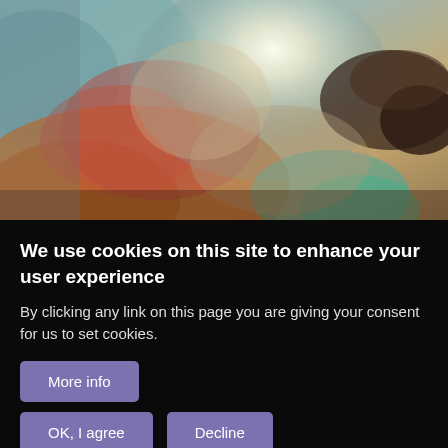[Figure (illustration): A painterly artwork with swirling colors — warm oranges, reds, teal/cyan, and dark brown brushstrokes against a bright white-yellow center. Style reminiscent of Turner's romantic landscape paintings.]
We use cookies on this site to enhance your user experience
By clicking any link on this page you are giving your consent for us to set cookies.
More info
OK, I agree
Decline